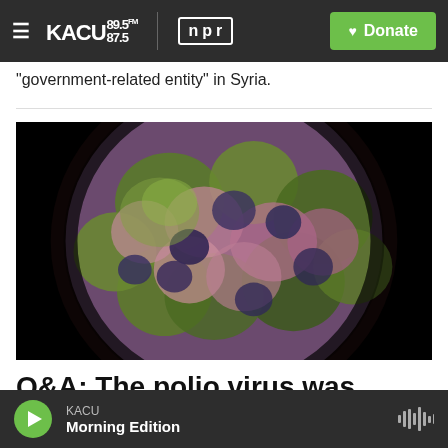KACU 89.5FM | npr | Donate
"government-related entity" in Syria.
[Figure (photo): Close-up 3D rendering of a poliovirus particle on a black background, showing a spherical virus with green and purple/pink textured surface proteins.]
Q&A: The polio virus was detected in New York City
KACU | Morning Edition